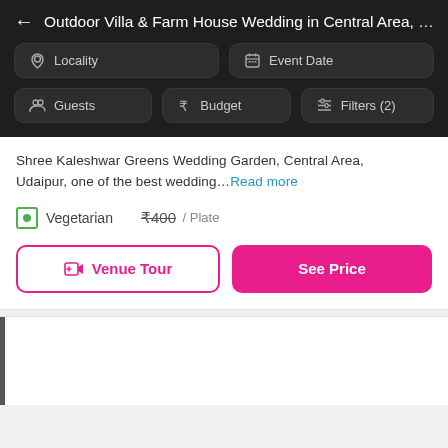← Outdoor Villa & Farm House Wedding in Central Area, Ud
Locality
Event Date
Guests
Budget
Filters (2)
Shree Kaleshwar Greens Wedding Garden, Central Area, Udaipur, one of the best wedding... Read more
Vegetarian
₹400 / Plate
Venue Tour
See Price